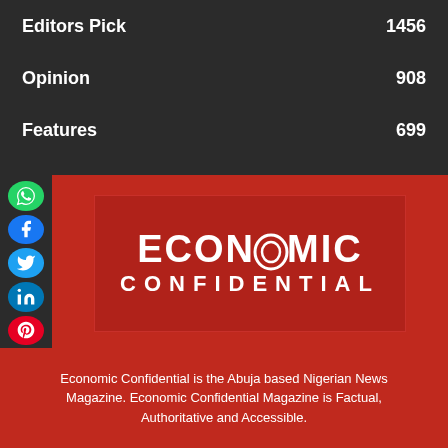Editors Pick  1456
Opinion  908
Features  699
[Figure (logo): Economic Confidential magazine logo in white text on dark red background]
ABOUT US
Economic Confidential is the Abuja based Nigerian News Magazine. Economic Confidential Magazine is Factual, Authoritative and Accessible.